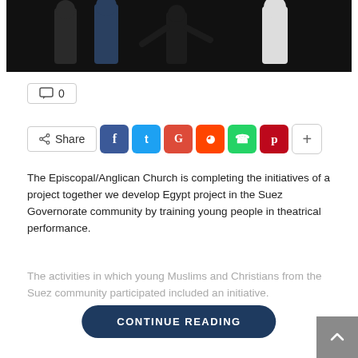[Figure (photo): Group of people on a dark stage, partial view showing legs and bodies against black background]
💬 0
Share (social share buttons: Facebook, Twitter, Google, Reddit, WhatsApp, Pinterest, More)
The Episcopal/Anglican Church is completing the initiatives of a project together we develop Egypt project in the Suez Governorate community by training young people in theatrical performance.
The activities in which young Muslims and Christians from the Suez community participated included an initiative.
CONTINUE READING